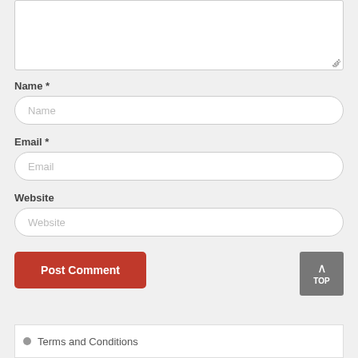[Figure (screenshot): Web comment form textarea (top, partially visible)]
Name *
[Figure (screenshot): Name input field with placeholder text 'Name']
Email *
[Figure (screenshot): Email input field with placeholder text 'Email']
Website
[Figure (screenshot): Website input field with placeholder text 'Website']
[Figure (screenshot): Post Comment button (red) and TOP scroll button (grey)]
Terms and Conditions